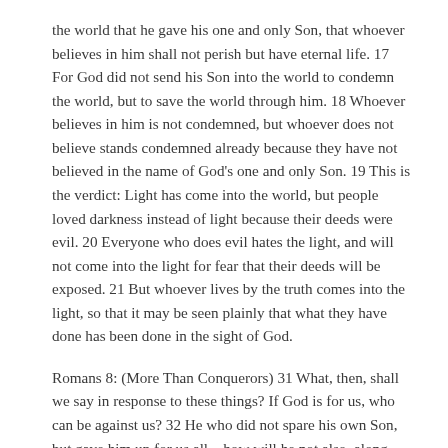the world that he gave his one and only Son, that whoever believes in him shall not perish but have eternal life. 17 For God did not send his Son into the world to condemn the world, but to save the world through him. 18 Whoever believes in him is not condemned, but whoever does not believe stands condemned already because they have not believed in the name of God's one and only Son. 19 This is the verdict: Light has come into the world, but people loved darkness instead of light because their deeds were evil. 20 Everyone who does evil hates the light, and will not come into the light for fear that their deeds will be exposed. 21 But whoever lives by the truth comes into the light, so that it may be seen plainly that what they have done has been done in the sight of God.
Romans 8: (More Than Conquerors) 31 What, then, shall we say in response to these things? If God is for us, who can be against us? 32 He who did not spare his own Son, but gave him up for us all—how will he not also, along with him, graciously give us all